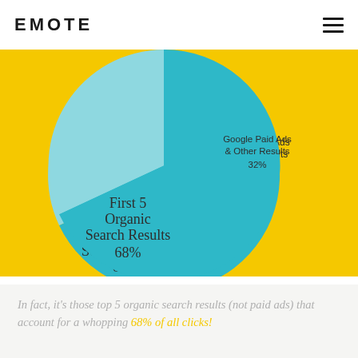EMOTE
[Figure (pie-chart): Search Results Distribution]
In fact, it's those top 5 organic search results (not paid ads) that account for a whopping 68% of all clicks!